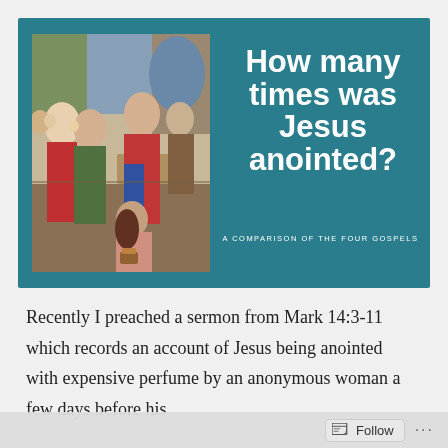[Figure (illustration): Banner with teal/dark cyan background containing a classical painting of Jesus being anointed by a woman with long hair, surrounded by other figures at a table, on the left side. On the right side, large bold white text reads 'How many times was Jesus anointed?' with smaller uppercase subtitle 'A COMPARISON OF THE FOUR GOSPELS'.]
Recently I preached a sermon from Mark 14:3-11 which records an account of Jesus being anointed with expensive perfume by an anonymous woman a few days before his crucifixion. You can imagine that you could ask if you'd like...